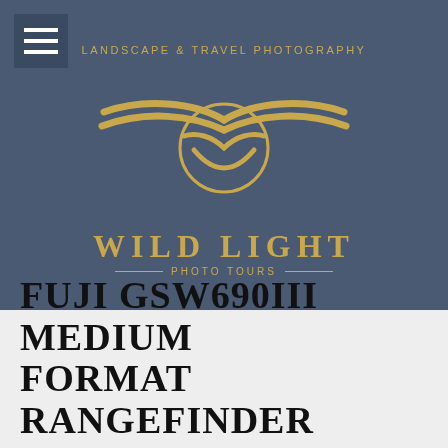[Figure (logo): Wild Light Photo Tours logo — gold winged emblem with circle, text 'LANDSCAPE & TRAVEL PHOTOGRAPHY' above, 'WILD LIGHT' in large gold serif, 'PHOTO TOURS' below with decorative lines, on dark blue-gray background]
FUJI GSW690III MEDIUM FORMAT RANGEFINDER